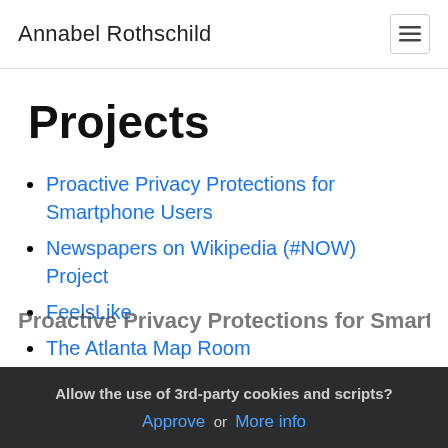Annabel Rothschild
Projects
Proactive Privacy Protections for Smartphone Users
Newspapers on Wikipedia (#NOW) Project
FeelsLike
The Atlanta Map Room
Personal projects
Allow the use of 3rd-party cookies and scripts? Approve or More info